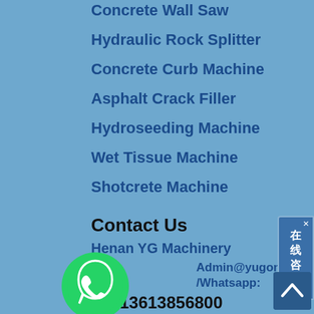Concrete Wall Saw
Hydraulic Rock Splitter
Concrete Curb Machine
Asphalt Crack Filler
Hydroseeding Machine
Wet Tissue Machine
Shotcrete Machine
Contact Us
Henan YG Machinery
Admin@yugongmachinery.com
/Whatsapp:
+8613613856800
Wechat/Skype: +8613613856800